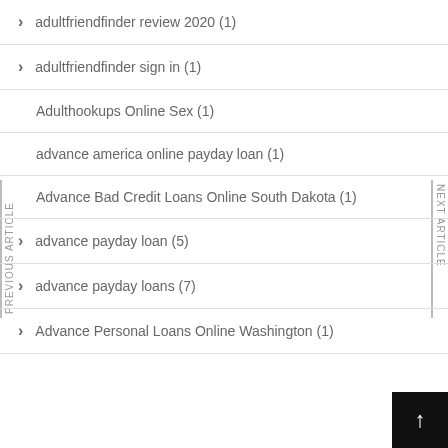adultfriendfinder review 2020 (1)
adultfriendfinder sign in (1)
Adulthookups Online Sex (1)
advance america online payday loan (1)
Advance Bad Credit Loans Online South Dakota (1)
advance payday loan (5)
advance payday loans (7)
Advance Personal Loans Online Washington (1)